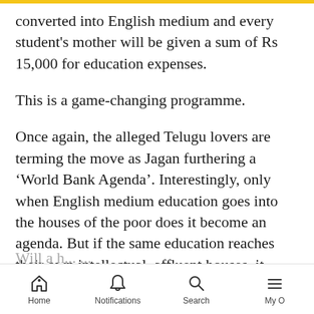converted into English medium and every student's mother will be given a sum of Rs 15,000 for education expenses.
This is a game-changing programme.
Once again, the alleged Telugu lovers are terming the move as Jagan furthering a ‘World Bank Agenda’. Interestingly, only when English medium education goes into the houses of the poor does it become an agenda. But if the same education reaches their own intellectual, affluent houses, it becomes a nationalist agenda.
Home  Notifications  Search  My O